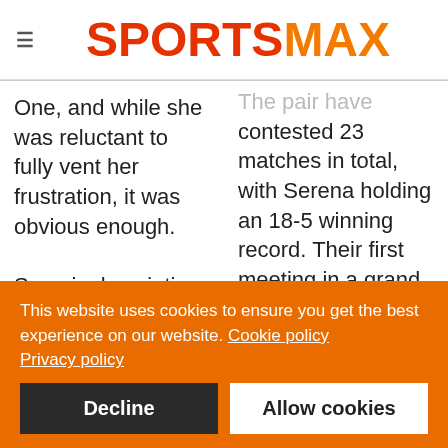SPORTSMAX
One, and while she was reluctant to fully vent her frustration, it was obvious enough.

Seemingly pointing a finger at those in power, Williams
The pair have contested 23 matches in total, with Serena holding an 18-5 winning record. Their first meeting in a grand slam final came in 2012
This website uses cookies to ensure you get the best experience on our website. Cookie policy
Privacy policy
Decline
Allow cookies